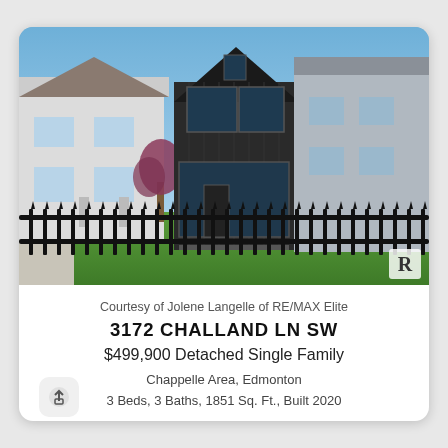[Figure (photo): Exterior photo of a modern two-storey black vertical-siding home with large windows, flanked by neighboring houses, behind a black iron fence with green lawn in foreground. Clear blue sky. Realtor watermark in bottom-right corner.]
Courtesy of Jolene Langelle of RE/MAX Elite
3172 CHALLAND LN SW
$499,900 Detached Single Family
Chappelle Area, Edmonton
3 Beds, 3 Baths, 1851 Sq. Ft., Built 2020